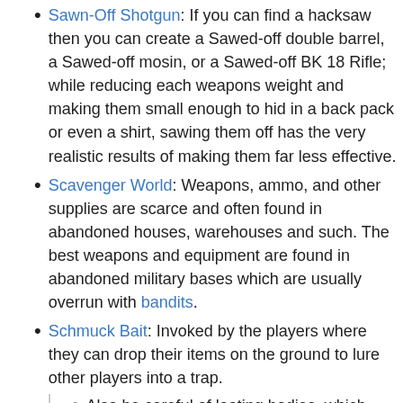Sawn-Off Shotgun: If you can find a hacksaw then you can create a Sawed-off double barrel, a Sawed-off mosin, or a Sawed-off BK 18 Rifle; while reducing each weapons weight and making them small enough to hid in a back pack or even a shirt, sawing them off has the very realistic results of making them far less effective.
Scavenger World: Weapons, ammo, and other supplies are scarce and often found in abandoned houses, warehouses and such. The best weapons and equipment are found in abandoned military bases which are usually overrun with bandits.
Schmuck Bait: Invoked by the players where they can drop their items on the ground to lure other players into a trap.
Also be careful of looting bodies, which could have been a poor soul just shot by a sniper who may still be there.
The game's chat feature is also this. Since anything